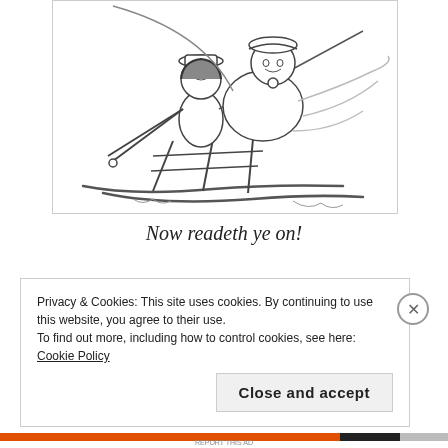[Figure (illustration): Line drawing illustration of two figures riding a sled together — one seated at front steering with poles, one behind. Vintage/retro style sketch.]
Now readeth ye on!
Privacy & Cookies: This site uses cookies. By continuing to use this website, you agree to their use.
To find out more, including how to control cookies, see here: Cookie Policy